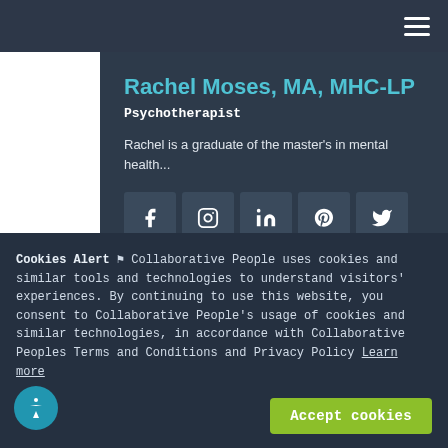Navigation bar with hamburger menu
Rachel Moses, MA, MHC-LP
Psychotherapist
Rachel is a graduate of the master's in mental health...
[Figure (infographic): Social media icon buttons: Facebook, Instagram, LinkedIn, Pinterest, Twitter, YouTube, Email, Phone]
Cookies Alert ⚑ Collaborative People uses cookies and similar tools and technologies to understand visitors' experiences. By continuing to use this website, you consent to Collaborative People's usage of cookies and similar technologies, in accordance with Collaborative Peoples Terms and Conditions and Privacy Policy Learn more
Accept cookies